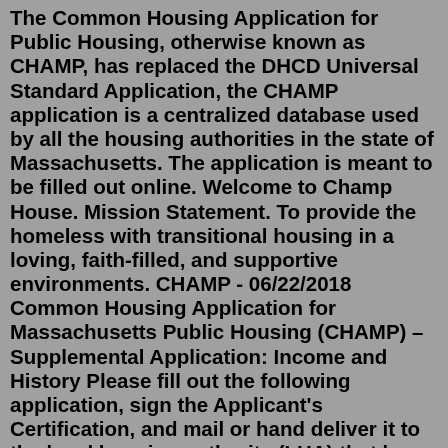The Common Housing Application for Public Housing, otherwise known as CHAMP, has replaced the DHCD Universal Standard Application, the CHAMP application is a centralized database used by all the housing authorities in the state of Massachusetts. The application is meant to be filled out online. Welcome to Champ House. Mission Statement. To provide the homeless with transitional housing in a loving, faith-filled, and supportive environments. CHAMP - 06/22/2018 Common Housing Application for Massachusetts Public Housing (CHAMP) – Supplemental Application: Income and History Please fill out the following application, sign the Applicant's Certification, and mail or hand deliver it to the local housing authority (LHA) that has requested it. Note that a housing authority Common Housing Application for Massachusetts Public Housing (CHAMP) > Housing Choice Voucher (HCV) The Housing Choice Voucher program is the federal government's major program for assisting very low-income families, the elderly, and